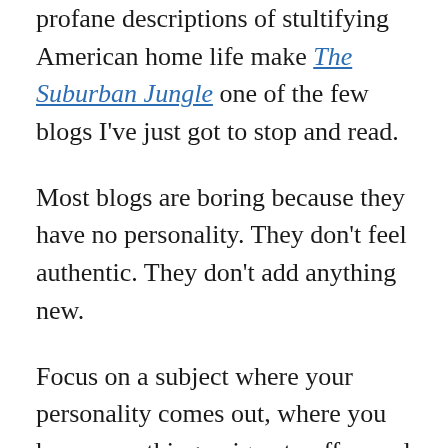profane descriptions of stultifying American home life make The Suburban Jungle one of the few blogs I've just got to stop and read.
Most blogs are boring because they have no personality. They don't feel authentic. They don't add anything new.
Focus on a subject where your personality comes out, where you have something unique to offer, and where you can use your secret weapon to stand out.
Power up your weapon